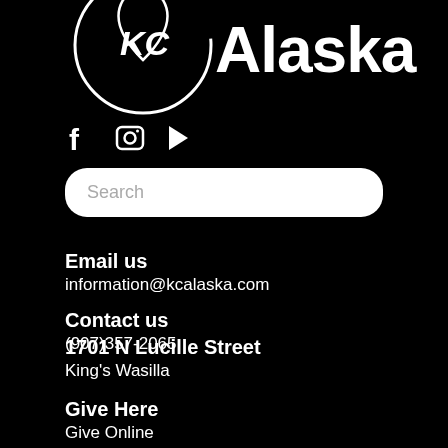[Figure (logo): Partial Alaska logo — white leaf/kc emblem and 'Alaska' wordmark on black background, cropped at top]
[Figure (infographic): Social media icons: Facebook (f), Instagram (camera icon), YouTube/play (triangle)]
Search
Email us
information@kcalaska.com
Contact us
(907)357-2065
1701 N Lucille Street
King's Wasilla
Give Here
Give Online